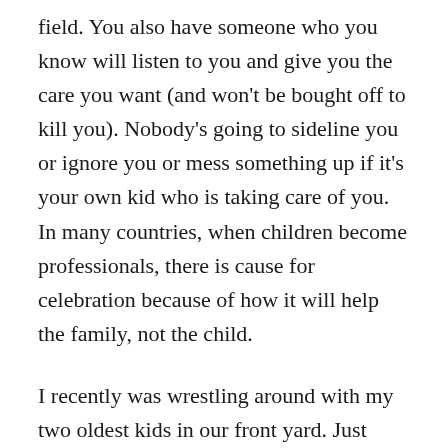field. You also have someone who you know will listen to you and give you the care you want (and won't be bought off to kill you). Nobody's going to sideline you or ignore you or mess something up if it's your own kid who is taking care of you. In many countries, when children become professionals, there is cause for celebration because of how it will help the family, not the child.
I recently was wrestling around with my two oldest kids in our front yard. Just prior to ultimate triumph over both of them at the same time, my crafty 6 year old intertwined her entire body in mine and toppled me to the ground. In the process, I stepped on her wrist, which happened to not be in our yard anymore, but on the